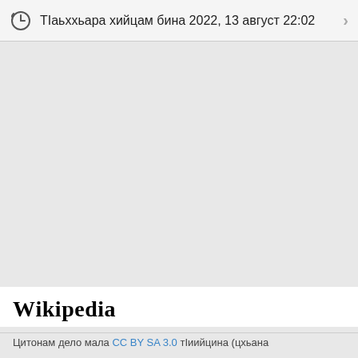ТIаьххьара хийцам бина 2022, 13 август 22:02
[Figure (other): Large empty grey area filling the middle of the page]
Wikipedia
Цитонам дело мала CC BY SA 3.0 тIиийцина (цхьана